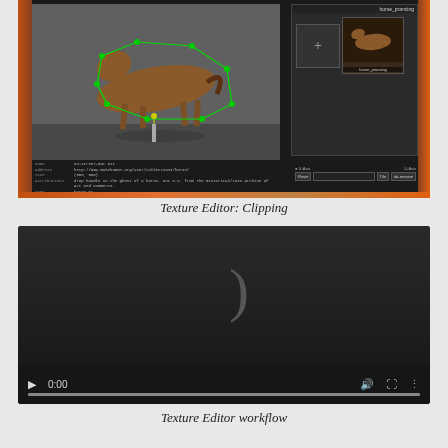[Figure (screenshot): Texture Editor showing clipping interface with a horse model surrounded by a green polygon outline, right panel showing horse thumbnails labeled horse_prancing, info panel at bottom with metadata fields (Name, Address, Size, Attributions, Tags)]
Texture Editor: Clipping
[Figure (screenshot): Video player showing Texture Editor workflow video at 0:00, dark background with a parenthesis symbol visible, player controls including play button, time display, volume, fullscreen, and more options, progress bar at bottom]
Texture Editor workflow